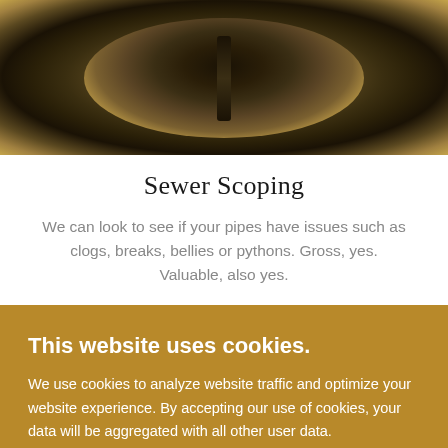[Figure (photo): Close-up interior view of a sewer pipe showing a circular tunnel with dark center and metallic/rusty pipe walls with a golden-brown sepia tone]
Sewer Scoping
We can look to see if your pipes have issues such as clogs, breaks, bellies or pythons. Gross, yes. Valuable, also yes.
This website uses cookies.
We use cookies to analyze website traffic and optimize your website experience. By accepting our use of cookies, your data will be aggregated with all other user data.
ACCEPT